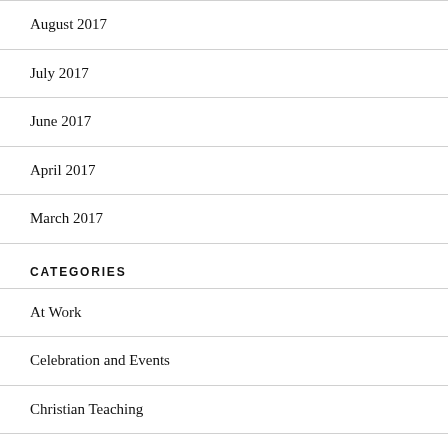August 2017
July 2017
June 2017
April 2017
March 2017
CATEGORIES
At Work
Celebration and Events
Christian Teaching
Entertainment and Arts